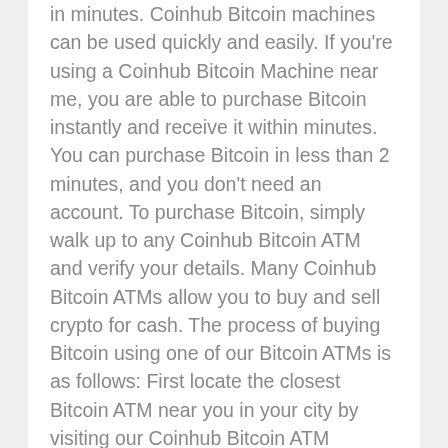in minutes. Coinhub Bitcoin machines can be used quickly and easily. If you're using a Coinhub Bitcoin Machine near me, you are able to purchase Bitcoin instantly and receive it within minutes. You can purchase Bitcoin in less than 2 minutes, and you don't need an account. To purchase Bitcoin, simply walk up to any Coinhub Bitcoin ATM and verify your details. Many Coinhub Bitcoin ATMs allow you to buy and sell crypto for cash. The process of buying Bitcoin using one of our Bitcoin ATMs is as follows: First locate the closest Bitcoin ATM near you in your city by visiting our Coinhub Bitcoin ATM Locator. Walk up to the machine and enter your phone number. The machine will verify your phone using a code and scan the bitcoin wallet. Enter each bill one at a time to determine the amount you wish to purchase. After that, confirm the purchase by entering the bitcoin atm. Bitcoin is then instantly sent to your wallet. The daily limit for buying Bitcoin is